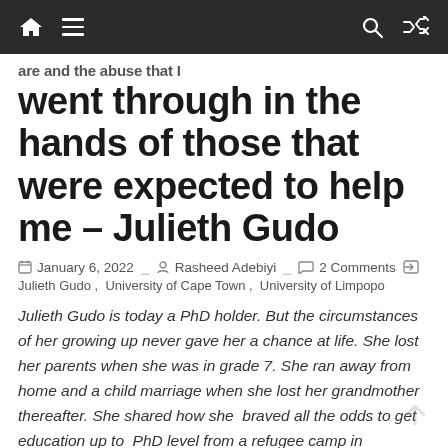Navigation bar with home, menu, search, and shuffle icons
are and the abuse that I went through in the hands of those that were expected to help me – Julieth Gudo
January 6, 2022  Rasheed Adebiyi  2 Comments
Julieth Gudo , University of Cape Town , University of Limpopo
Julieth Gudo is today a PhD holder. But the circumstances of her growing up never gave her a chance at life. She lost her parents when she was in grade 7. She ran away from home and a child marriage when she lost her grandmother thereafter. She shared how she  braved all the odds to get education up to  PhD level from a refugee camp in